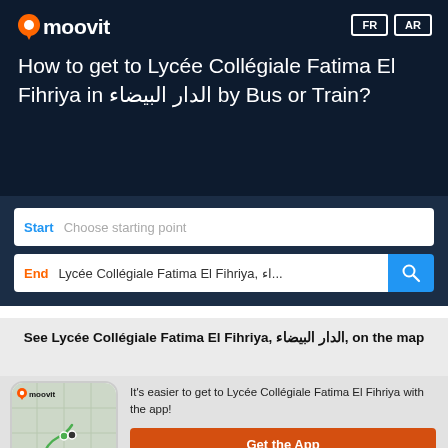moovit
How to get to Lycée Collégiale Fatima El Fihriya in الدار البيضاء by Bus or Train?
Start  Choose starting point
End  Lycée Collégiale Fatima El Fihriya, اء...
See Lycée Collégiale Fatima El Fihriya, الدار البيضاء, on the map
[Figure (screenshot): Moovit app on phone showing a map with route markers]
It's easier to get to Lycée Collégiale Fatima El Fihriya with the app!
Get the App